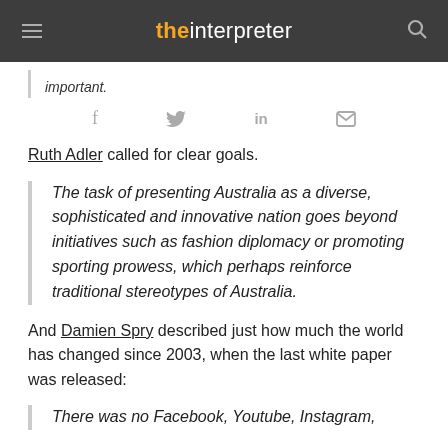the interpreter
important.
f  twitter  in  email
Ruth Adler called for clear goals.
The task of presenting Australia as a diverse, sophisticated and innovative nation goes beyond initiatives such as fashion diplomacy or promoting sporting prowess, which perhaps reinforce traditional stereotypes of Australia.
And Damien Spry described just how much the world has changed since 2003, when the last white paper was released:
There was no Facebook, Youtube, Instagram,